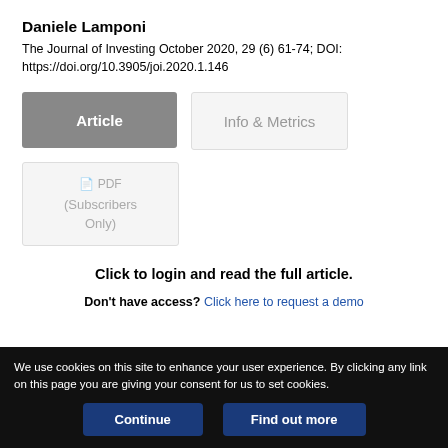Daniele Lamponi
The Journal of Investing October 2020, 29 (6) 61-74; DOI: https://doi.org/10.3905/joi.2020.1.146
Click to login and read the full article.
Don't have access? Click here to request a demo
We use cookies on this site to enhance your user experience. By clicking any link on this page you are giving your consent for us to set cookies.